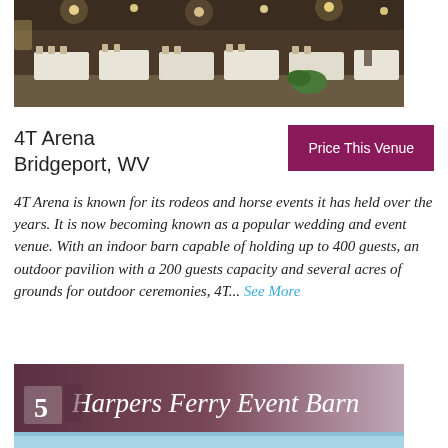[Figure (photo): Interior of a barn decorated for an event, with tables covered in white tablecloths, chairs, and string lights overhead. Warm brown wood walls visible.]
4T Arena
Bridgeport, WV
Price This Venue
4T Arena is known for its rodeos and horse events it has held over the years. It is now becoming known as a popular wedding and event venue. With an indoor barn capable of holding up to 400 guests, an outdoor pavilion with a 200 guests capacity and several acres of grounds for outdoor ceremonies, 4T... See More
[Figure (photo): Banner image for Harpers Ferry Event Barn, number 5 listing, with overlaid text on a reddish-brown background with a scenic outdoor venue image below.]